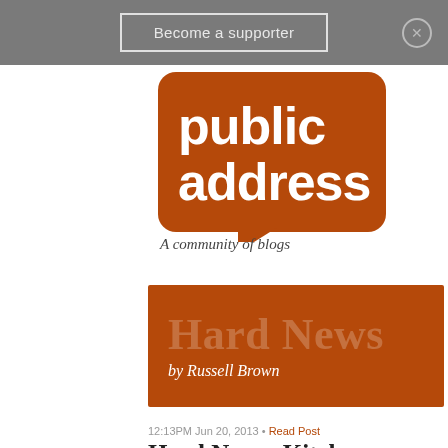Become a supporter
[Figure (logo): Public Address logo - orange rounded rectangle with speech bubble, text 'public address' in white, below 'A community of blogs']
Hard News by Russell Brown
12:13PM Jun 20, 2013 • Read Post
Hard News: Kitchen Hacks
334 RESPONSES   Subscribe by [email] [rss]
← Older  1 ... 8  9  19  11  12 ... 14  Newer →